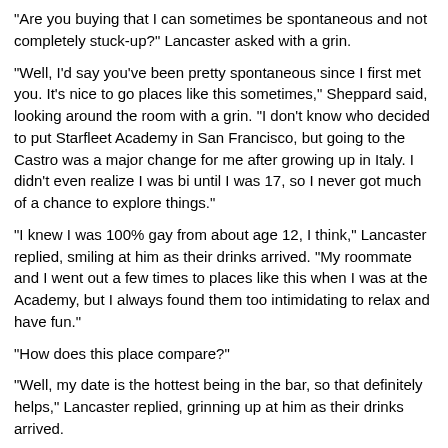“Are you buying that I can sometimes be spontaneous and not completely stuck-up?” Lancaster asked with a grin.
“Well, I’d say you’ve been pretty spontaneous since I first met you. It’s nice to go places like this sometimes,” Sheppard said, looking around the room with a grin. “I don’t know who decided to put Starfleet Academy in San Francisco, but going to the Castro was a major change for me after growing up in Italy. I didn’t even realize I was bi until I was 17, so I never got much of a chance to explore things.”
“I knew I was 100% gay from about age 12, I think,” Lancaster replied, smiling at him as their drinks arrived. “My roommate and I went out a few times to places like this when I was at the Academy, but I always found them too intimidating to relax and have fun.”
“How does this place compare?”
“Well, my date is the hottest being in the bar, so that definitely helps,” Lancaster replied, grinning up at him as their drinks arrived.
“I just had that exact thought,” Sheppard replied as they clinked their glasses together. It turned the liquid within from clear to a swirling vortex of colors that settled into bright gold that tasted like sunshine. Their drinks didn’t last long at all as they continued to flirt by the bar.